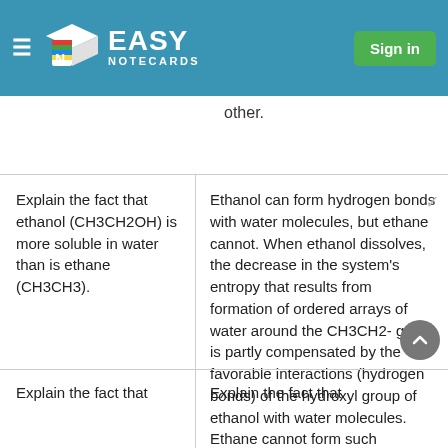Easy Notecards — Sign in
other.
Explain the fact that ethanol (CH3CH2OH) is more soluble in water than is ethane (CH3CH3).
Ethanol can form hydrogen bonds with water molecules, but ethane cannot. When ethanol dissolves, the decrease in the system's entropy that results from formation of ordered arrays of water around the CH3CH2- group is partly compensated by the favorable interactions (hydrogen bonds) of the hydroxyl group of ethanol with water molecules. Ethane cannot form such hydrogen bonds.
Explain the fact that
Explain the fact that